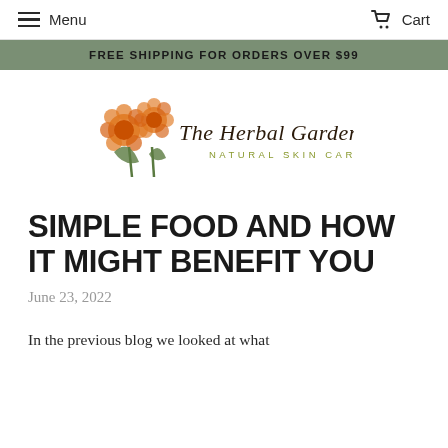Menu  Cart
FREE SHIPPING FOR ORDERS OVER $99
[Figure (logo): The Herbal Gardener Natural Skin Care logo with orange marigold flowers and cursive/serif text]
SIMPLE FOOD AND HOW IT MIGHT BENEFIT YOU
June 23, 2022
In the previous blog we looked at what